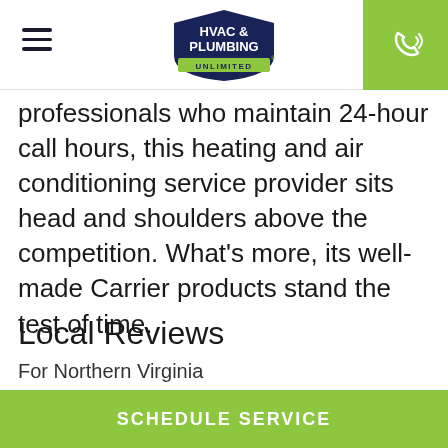[Figure (logo): HVAC & Plumbing Unlimited logo — navy blue shield badge with green underline banner reading UNLIMITED]
professionals who maintain 24-hour call hours, this heating and air conditioning service provider sits head and shoulders above the competition. What's more, its well-made Carrier products stand the test of time.
Local Reviews
For Northern Virginia
SCHEDULE SERVICE